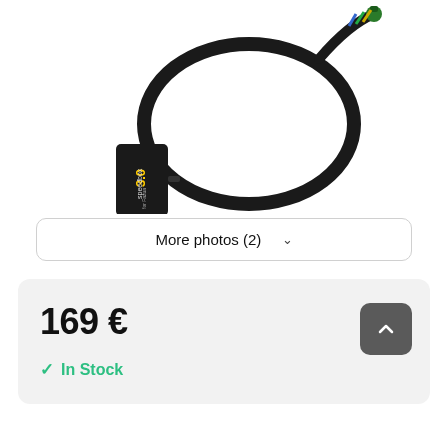[Figure (photo): SpeedBox 3.0 for Fazua e-bike device with black cable and green connector on white background]
More photos (2)
169 €
In Stock